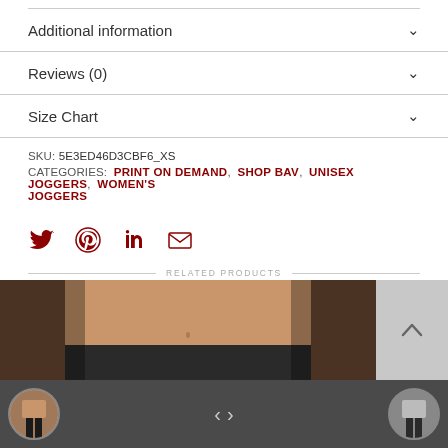Additional information
Reviews (0)
Size Chart
SKU: 5E3ED46D3CBF6_XS
CATEGORIES: PRINT ON DEMAND, SHOP BAV, UNISEX JOGGERS, WOMEN'S JOGGERS
[Figure (infographic): Social share icons: Twitter, Pinterest, LinkedIn, Email]
RELATED PRODUCTS
[Figure (photo): Product photo showing model wearing joggers, cropped torso view]